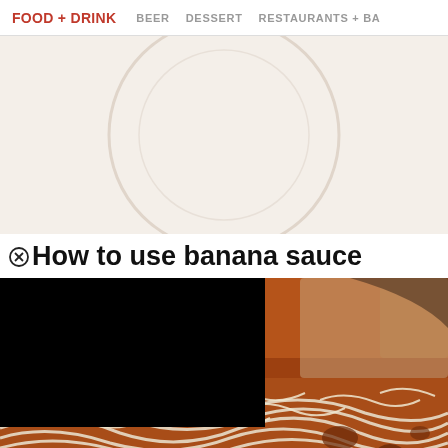FOOD + DRINK  BEER  DESSERT  RESTAURANTS + BA
[Figure (photo): Advertisement area with light beige/cream background and a faint circular watermark shape in the center]
How to use banana sauce
[Figure (photo): Close-up photo of Filipino-style spaghetti with banana ketchup meat sauce topped with shredded cheese, with a black video player overlay in the top-left corner]